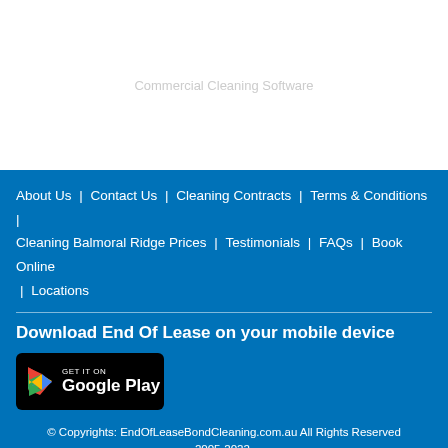[Figure (other): Watermark text reading 'Commercial Cleaning Software' on white background]
About Us | Contact Us | Cleaning Contracts | Terms & Conditions | Cleaning Balmoral Ridge Prices | Testimonials | FAQs | Book Online | Locations
Download End Of Lease on your mobile device
[Figure (logo): Google Play Store badge with GET IT ON Google Play text and Play triangle icon]
© Copyrights: EndOfLeaseBondCleaning.com.au All Rights Reserved 2005-2022.